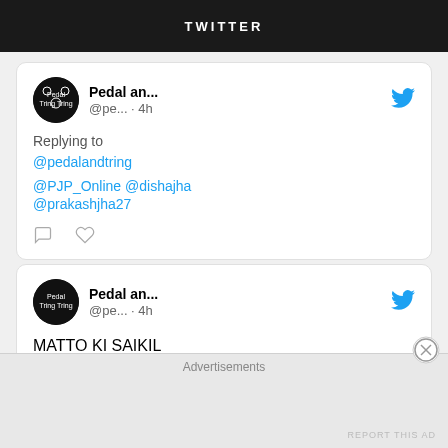TWITTER
[Figure (screenshot): Tweet from Pedal an... (@pe...) posted 4h ago. Replying to @pedalandtring. Mentions: @PJP_Online @dishajha @prakashjha27. Has reply and like icons.]
[Figure (screenshot): Tweet from Pedal an... (@pe...) posted 4h ago. Text: MATTO KI SAIKIL (MATTO'S BICYCLE)]
Advertisements